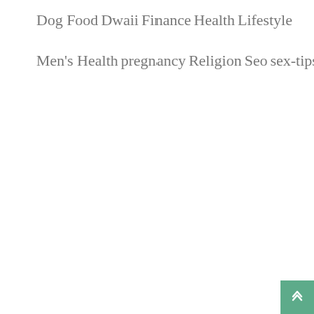Dog Food
Dwaii
Finance
Health
Lifestyle
Men's Health
pregnancy
Religion
Seo
sex-tips